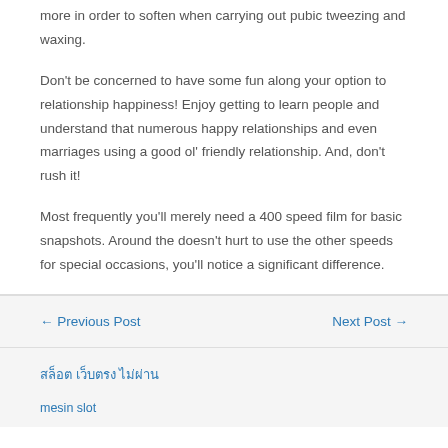more in order to soften when carrying out pubic tweezing and waxing.
Don't be concerned to have some fun along your option to relationship happiness! Enjoy getting to learn people and understand that numerous happy relationships and even marriages using a good ol' friendly relationship. And, don't rush it!
Most frequently you'll merely need a 400 speed film for basic snapshots. Around the doesn't hurt to use the other speeds for special occasions, you'll notice a significant difference.
← Previous Post    Next Post →
สล็อต เว็บตรง ไม่ผ่าน
mesin slot